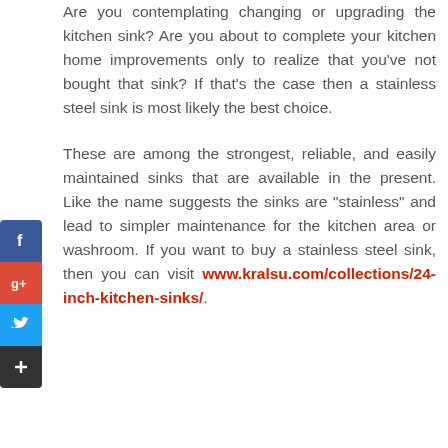Are you contemplating changing or upgrading the kitchen sink? Are you about to complete your kitchen home improvements only to realize that you've not bought that sink? If that's the case then a stainless steel sink is most likely the best choice.
These are among the strongest, reliable, and easily maintained sinks that are available in the present. Like the name suggests the sinks are "stainless" and lead to simpler maintenance for the kitchen area or washroom. If you want to buy a stainless steel sink, then you can visit www.kralsu.com/collections/24-inch-kitchen-sinks/.
[Figure (infographic): Social media sharing buttons: Facebook (blue), Google+ (red), Twitter (blue), Add/Plus (dark)]